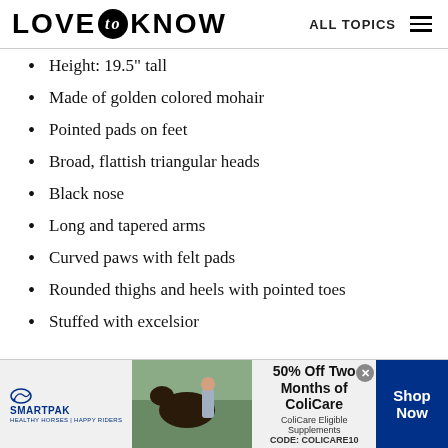LOVE to KNOW — ALL TOPICS
Height: 19.5" tall
Made of golden colored mohair
Pointed pads on feet
Broad, flattish triangular heads
Black nose
Long and tapered arms
Curved paws with felt pads
Rounded thighs and heels with pointed toes
Stuffed with excelsior
[Figure (infographic): SmartPak advertisement banner: SmartPak logo with horse icon on left, photo of person with horse in center, text '50% Off Two Months of ColiCare, ColiCare Eligible Supplements, CODE: COLICARE10', blue Shop Now button on right]